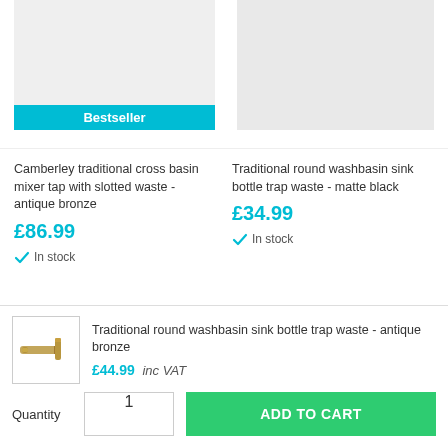[Figure (photo): Product image area for Camberley traditional cross basin mixer tap with slotted waste - antique bronze, with Bestseller badge]
[Figure (photo): Product image area for Traditional round washbasin sink bottle trap waste - matte black, light grey background]
Camberley traditional cross basin mixer tap with slotted waste - antique bronze
Traditional round washbasin sink bottle trap waste - matte black
£86.99
£34.99
In stock
In stock
[Figure (photo): Small thumbnail image of Traditional round washbasin sink bottle trap waste - antique bronze plumbing fitting]
Traditional round washbasin sink bottle trap waste - antique bronze
£44.99  inc VAT
Quantity
1
ADD TO CART